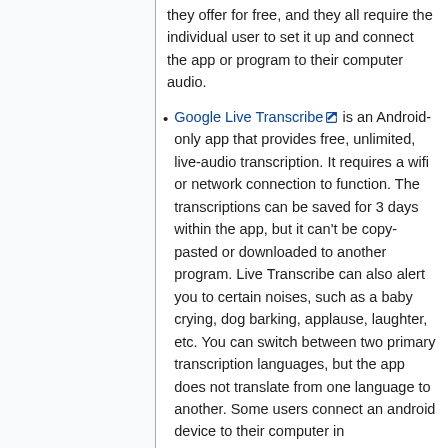they offer for free, and they all require the individual user to set it up and connect the app or program to their computer audio.
Google Live Transcribe is an Android-only app that provides free, unlimited, live-audio transcription. It requires a wifi or network connection to function. The transcriptions can be saved for 3 days within the app, but it can't be copy-pasted or downloaded to another program. Live Transcribe can also alert you to certain noises, such as a baby crying, dog barking, applause, laughter, etc. You can switch between two primary transcription languages, but the app does not translate from one language to another. Some users connect an android device to their computer in